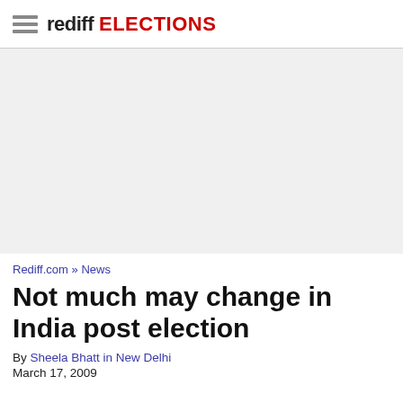rediff ELECTIONS
[Figure (other): Advertisement placeholder area (gray background)]
Rediff.com » News
Not much may change in India post election
By Sheela Bhatt in New Delhi
March 17, 2009